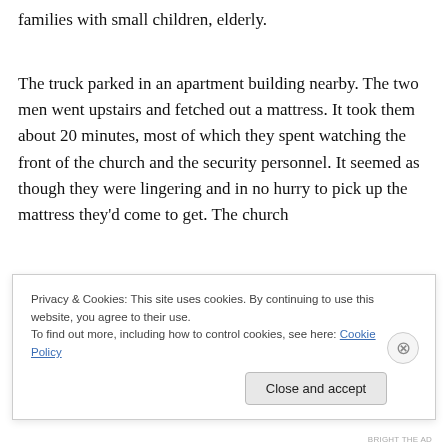families with small children, elderly.
The truck parked in an apartment building nearby. The two men went upstairs and fetched out a mattress. It took them about 20 minutes, most of which they spent watching the front of the church and the security personnel. It seemed as though they were lingering and in no hurry to pick up the mattress they'd come to get. The church
Privacy & Cookies: This site uses cookies. By continuing to use this website, you agree to their use.
To find out more, including how to control cookies, see here: Cookie Policy
Close and accept